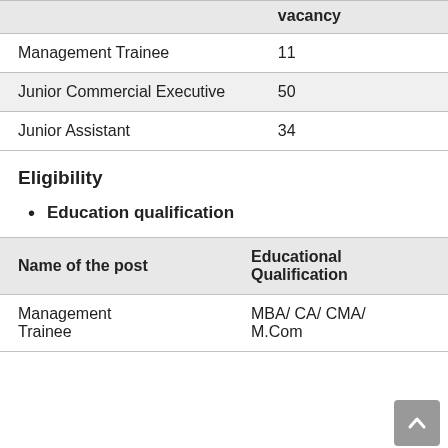| Name of the post | No. of vacancy |
| --- | --- |
| Management Trainee | 11 |
| Junior Commercial Executive | 50 |
| Junior Assistant | 34 |
Eligibility
Education qualification
| Name of the post | Educational Qualification |
| --- | --- |
| Management Trainee | MBA/ CA/ CMA/ M.Com |